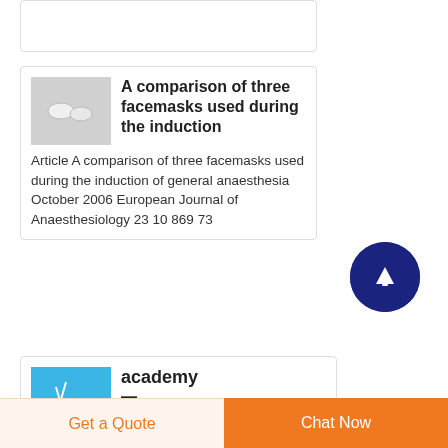[Figure (other): Top stub card partial view]
A comparison of three facemasks used during the induction
Article A comparison of three facemasks used during the induction of general anaesthesia October 2006 European Journal of Anaesthesiology 23 10 869 73
[Figure (other): Dark blue circular FAB button with upward arrow]
academy
Get a Quote
Chat Now